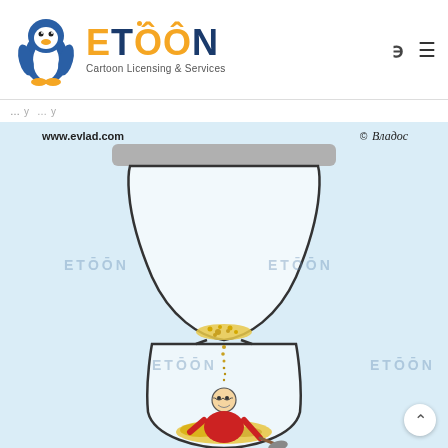[Figure (logo): ETOON penguin mascot logo with text 'ETOON Cartoon Licensing & Services']
ETOON Cartoon Licensing & Services
[Figure (illustration): Cartoon illustration of an hourglass with ETOON watermarks. Sand falling through the hourglass neck onto a man at the bottom who is shoveling the sand. Website URL www.evlad.com shown at top left, copyright signature at top right. Light blue background.]